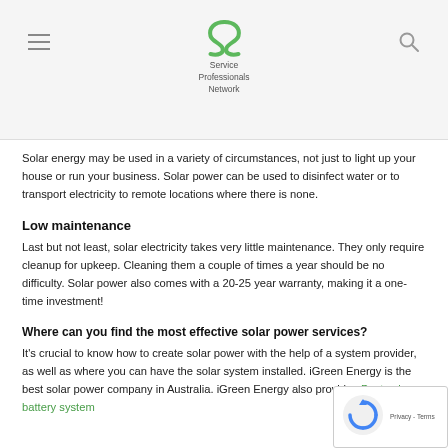Service Professionals Network
Solar energy may be used in a variety of circumstances, not just to light up your house or run your business. Solar power can be used to disinfect water or to transport electricity to remote locations where there is none.
Low maintenance
Last but not least, solar electricity takes very little maintenance. They only require cleanup for upkeep. Cleaning them a couple of times a year should be no difficulty. Solar power also comes with a 20-25 year warranty, making it a one-time investment!
Where can you find the most effective solar power services?
It's crucial to know how to create solar power with the help of system provider, as well as where you can have the solar system installed. iGreen Energy is the best solar power company in Australia. iGreen Energy also provides Best solar battery system